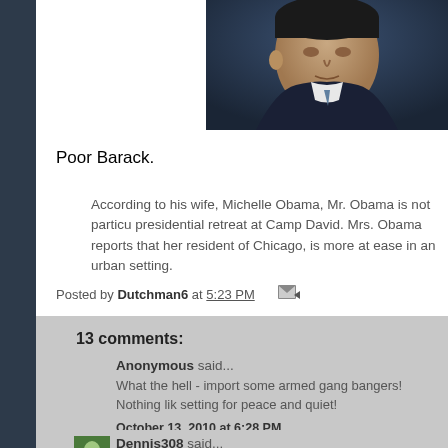[Figure (photo): Partial photo of Barack Obama in a suit against a dark blue background, cropped to show head and upper shoulders]
Poor Barack.
According to his wife, Michelle Obama, Mr. Obama is not particularly fond of the presidential retreat at Camp David. Mrs. Obama reports that her husband, a life-long resident of Chicago, is more at ease in an urban setting.
Posted by Dutchman6 at 5:23 PM
13 comments:
Anonymous said...
What the hell - import some armed gang bangers! Nothing like a setting for peace and quiet!
October 13, 2010 at 6:28 PM
Dennis308 said...
"It may be that regardless of what happens after this election